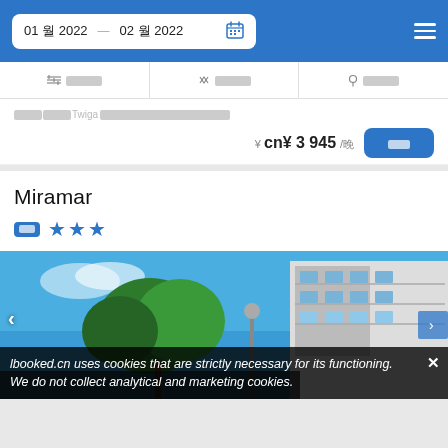01 [month] 2022   02 [month] 2022
Filter | Sort | Location filters
[redacted text] Twiga [redacted text]
¥ cn¥ 3 945/[night]
[Book button]
Miramar
★★★ (3 star hotel)
[Figure (photo): Photo of Miramar hotel exterior showing building facade with balconies against blue sky with trees]
lbooked.cn uses cookies that are strictly necessary for its functioning. We do not collect analytical and marketing cookies.